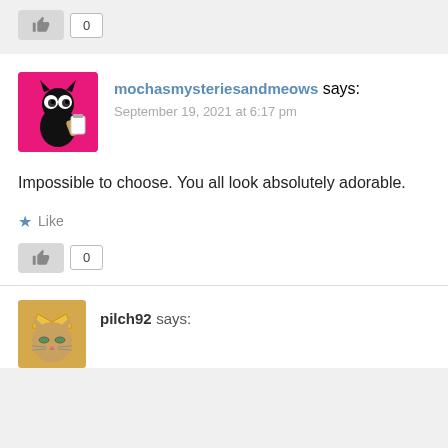[Figure (other): Like button with count 0 at top of page]
[Figure (photo): Avatar of mochasmysteriesandmeows: cartoon black cat on pink background holding a cup]
mochasmysteriesandmeows says:
September 19, 2021 at 6:17 pm
Impossible to choose. You all look absolutely adorable.
Like
[Figure (other): Like button with count 0]
[Figure (photo): Partial avatar of pilch92: cartoon cat with crown]
pilch92 says: